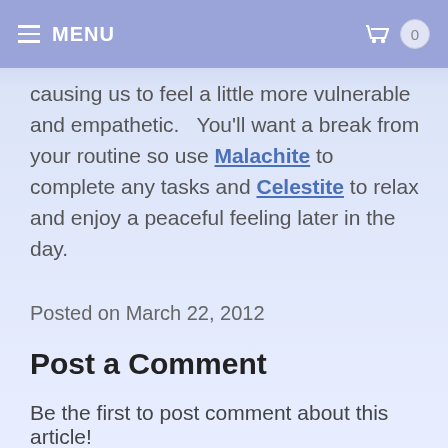≡ MENU
causing us to feel a little more vulnerable and empathetic.   You'll want a break from your routine so use Malachite to complete any tasks and Celestite to relax and enjoy a peaceful feeling later in the day.
Posted on March 22, 2012
Post a Comment
Be the first to post comment about this article!
Name or Nickname: